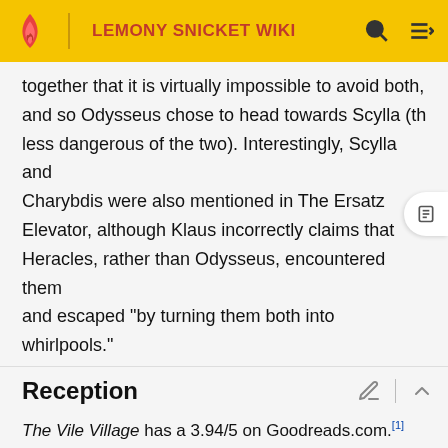LEMONY SNICKET WIKI
together that it is virtually impossible to avoid both, and so Odysseus chose to head towards Scylla (the less dangerous of the two). Interestingly, Scylla and Charybdis were also mentioned in The Ersatz Elevator, although Klaus incorrectly claims that Heracles, rather than Odysseus, encountered them and escaped "by turning them both into whirlpools."
Reception
The Vile Village has a 3.94/5 on Goodreads.com.[1]
Illustrations
[Figure (photo): Two illustration thumbnail images at the bottom of the page, partially visible]
[Figure (photo): Second illustration thumbnail, partially visible]